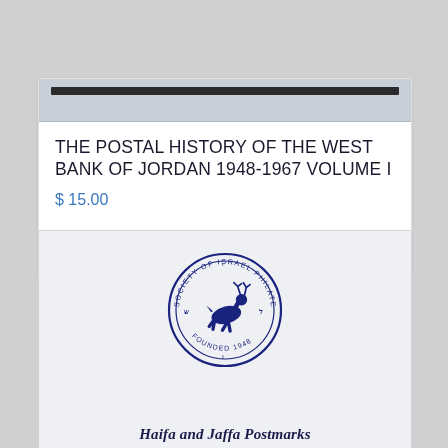THE POSTAL HISTORY OF THE WEST BANK OF JORDAN 1948-1967 VOLUME I
$ 15.00
Add to cart
Show Details
[Figure (logo): Society of Israel Philatelists circular seal/logo featuring a leaping deer in the center, with text 'SOCIETY OF ISRAEL PHILATELISTS' around the outer ring and 'FOUNDED 1948' at the bottom. Navy blue on light background.]
Haifa and Jaffa Postmarks